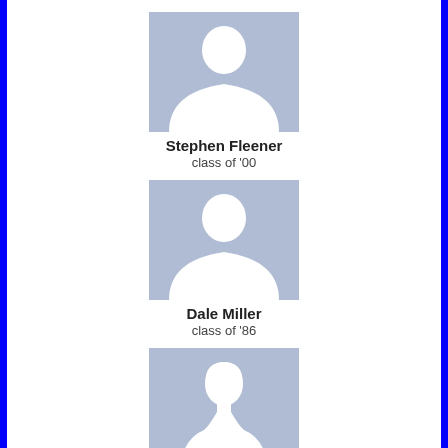[Figure (illustration): Default male avatar placeholder image with light blue-grey background]
Stephen Fleener
class of '00
[Figure (illustration): Default male avatar placeholder image with light blue-grey background]
Dale Miller
class of '86
[Figure (illustration): Default female avatar placeholder image with light blue-grey background]
Kristol Neal
class of '89
[Figure (illustration): Partial default avatar placeholder image with light blue-grey background, cropped at bottom]